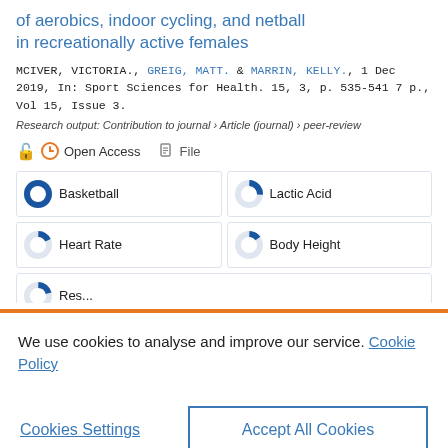of aerobics, indoor cycling, and netball in recreationally active females
MCIVER, VICTORIA., GREIG, MATT. & MARRIN, KELLY., 1 Dec 2019, In: Sport Sciences for Health. 15, 3, p. 535-541 7 p., Vol 15, Issue 3.
Research output: Contribution to journal › Article (journal) › peer-review
Open Access   File
Basketball
Lactic Acid
Heart Rate
Body Height
We use cookies to analyse and improve our service. Cookie Policy
Cookies Settings
Accept All Cookies